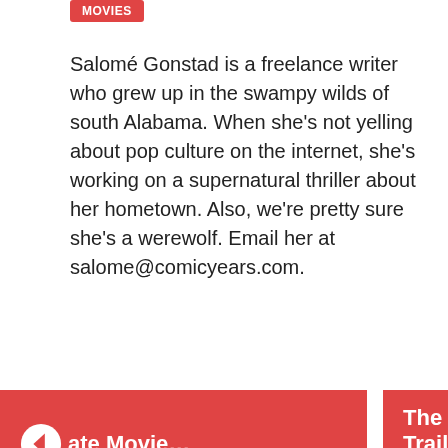Movies
Salomé Gonstad is a freelance writer who grew up in the swampy wilds of south Alabama. When she's not yelling about pop culture on the internet, she's working on a supernatural thriller about her hometown. Also, we're pretty sure she's a werewolf. Email her at salome@comicyears.com.
[Figure (other): Navigation button (previous): left arrow circle icon followed by text 'ate Movie...' on red background]
[Figure (other): Navigation button (next): text 'The Trailer for...' on red background]
[Figure (other): Social sharing icon buttons row: Facebook, Twitter, Email, Pinterest, Reddit, WhatsApp, Tumblr]
[Figure (other): Social sharing icon buttons row 2: LinkedIn, and others partially visible]